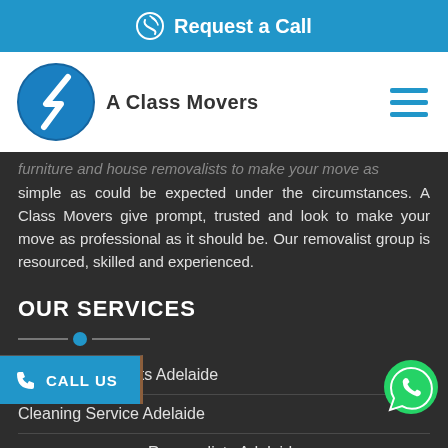Request a Call
[Figure (logo): A Class Movers logo — blue circular icon with stylized lightning/arrow shape, text 'A Class Movers' beside it]
furniture and house removalists to make your move as simple as could be expected under the circumstances. A Class Movers give prompt, trusted and look to make your move as professional as it should be. Our removalist group is resourced, skilled and experienced.
OUR SERVICES
Home Removalists Adelaide
Cleaning Service Adelaide
Removalists Adelaide
Office Removalists Adelaide